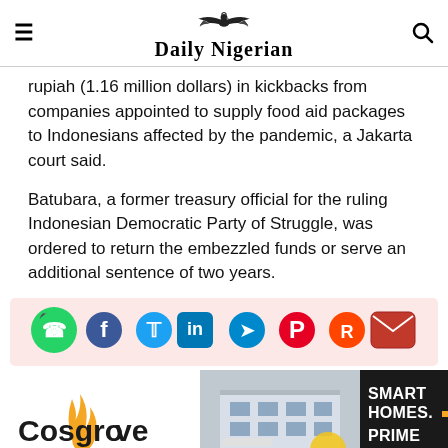Daily Nigerian
rupiah (1.16 million dollars) in kickbacks from companies appointed to supply food aid packages to Indonesians affected by the pandemic, a Jakarta court said.
Batubara, a former treasury official for the ruling Indonesian Democratic Party of Struggle, was ordered to return the embezzled funds or serve an additional sentence of two years.
[Figure (infographic): Social media sharing icons: WhatsApp, Facebook, Twitter, LinkedIn, Telegram, Pinterest, Reddit, Email]
[Figure (infographic): Advertisement for Cosgrove Real Estate showing a building photo with text: SMART HOMES. PRIME INVESTMENTS.]